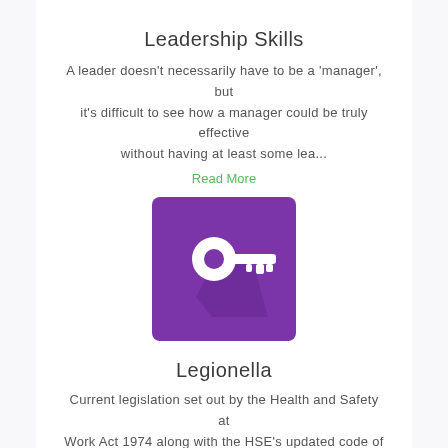Leadership Skills
A leader doesn't necessarily have to be a 'manager', but it's difficult to see how a manager could be truly effective without having at least some lea...
Read More
[Figure (illustration): Purple square icon with a white key icon (a circular key head and a rectangular key blade with notches) casting a dark purple diagonal shadow, suggesting a flat design style icon.]
Legionella
Current legislation set out by the Health and Safety at Work Act 1974 along with the HSE's updated code of practice known as L8 which was published in